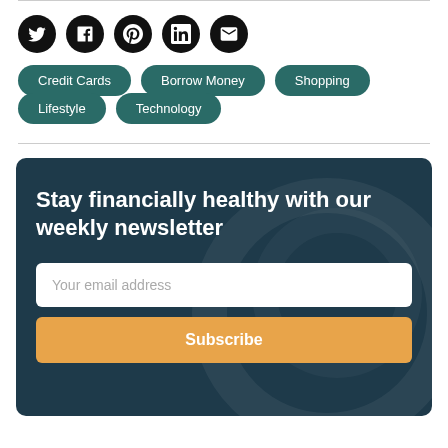[Figure (infographic): Row of 5 social media icon buttons (Twitter, Facebook, Pinterest, LinkedIn, Email) as black circles with white icons]
Credit Cards
Borrow Money
Shopping
Lifestyle
Technology
Stay financially healthy with our weekly newsletter
Your email address
Subscribe